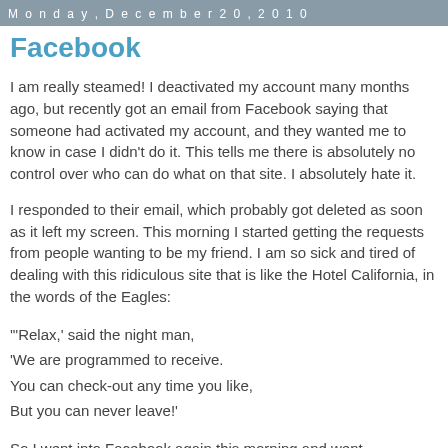Monday, December 20, 2010
Facebook
I am really steamed! I deactivated my account many months ago, but recently got an email from Facebook saying that someone had activated my account, and they wanted me to know in case I didn't do it. This tells me there is absolutely no control over who can do what on that site. I absolutely hate it.
I responded to their email, which probably got deleted as soon as it left my screen. This morning I started getting the requests from people wanting to be my friend. I am so sick and tired of dealing with this ridiculous site that is like the Hotel California, in the words of the Eagles:
'"Relax,' said the night man,
'We are programmed to receive.
You can check-out any time you like,
But you can never leave!'
So I went into Facebook again this morning and went